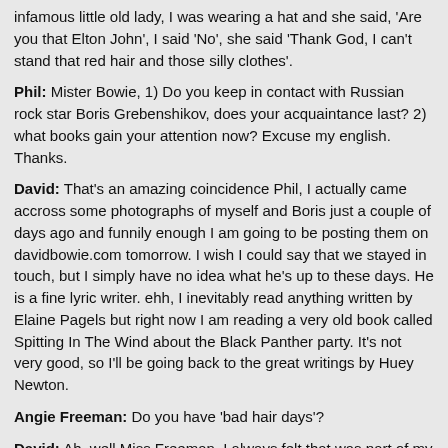infamous little old lady, I was wearing a hat and she said, 'Are you that Elton John', I said 'No', she said 'Thank God, I can't stand that red hair and those silly clothes'.
Phil: Mister Bowie, 1) Do you keep in contact with Russian rock star Boris Grebenshikov, does your acquaintance last? 2) what books gain your attention now? Excuse my english. Thanks.
David: That's an amazing coincidence Phil, I actually came accross some photographs of myself and Boris just a couple of days ago and funnily enough I am going to be posting them on davidbowie.com tomorrow. I wish I could say that we stayed in touch, but I simply have no idea what he's up to these days. He is a fine lyric writer. ehh, I inevitably read anything written by Elaine Pagels but right now I am reading a very old book called Spitting In The Wind about the Black Panther party. It's not very good, so I'll be going back to the great writings by Huey Newton.
Angie Freeman: Do you have 'bad hair days'?
David: Ah, well Miss Freeman, I always felt that was part of my charm and I depend on them for a continuing interest in my career.lol